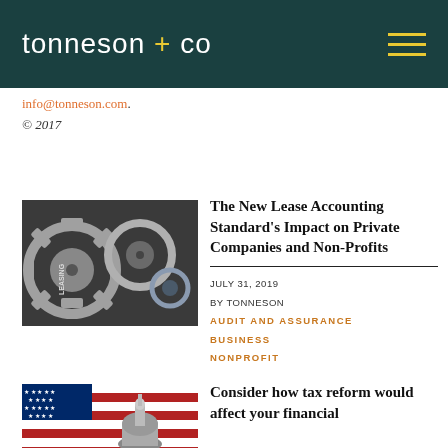tonneson + co
info@tonneson.com.
© 2017
[Figure (photo): Close-up photograph of interlocking metal gears with the word LEASING engraved on one of the gears]
The New Lease Accounting Standard's Impact on Private Companies and Non-Profits
JULY 31, 2019
BY TONNESON
AUDIT AND ASSURANCE
BUSINESS
NONPROFIT
[Figure (photo): Photograph showing an American flag with stars and red and white stripes, with the US Capitol building dome visible]
Consider how tax reform would affect your financial